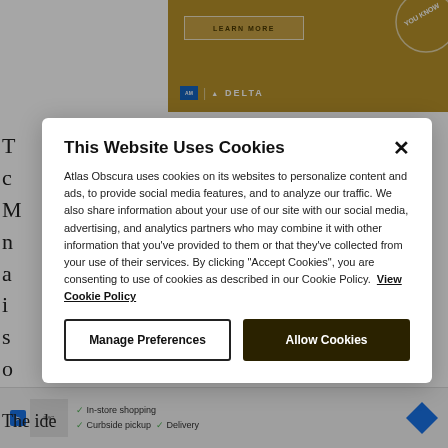[Figure (screenshot): Delta AMEX advertisement banner with gold background, Learn More button, and Delta logo]
T c M n a i s o w
[Figure (screenshot): Bottom advertisement strip with store shopping, curbside pickup, delivery options and navigation icon]
The ide
This Website Uses Cookies
Atlas Obscura uses cookies on its websites to personalize content and ads, to provide social media features, and to analyze our traffic. We also share information about your use of our site with our social media, advertising, and analytics partners who may combine it with other information that you've provided to them or that they've collected from your use of their services. By clicking "Accept Cookies", you are consenting to use of cookies as described in our Cookie Policy. View Cookie Policy